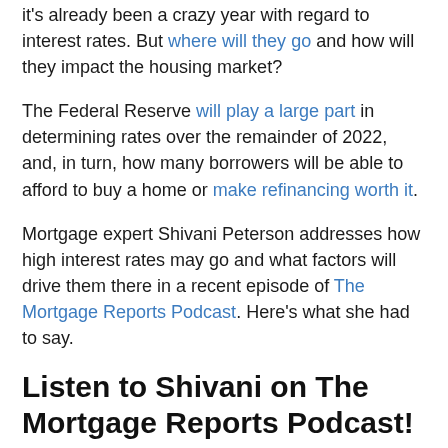It's already been a crazy year with regard to interest rates. But where will they go and how will they impact the housing market?
The Federal Reserve will play a large part in determining rates over the remainder of 2022, and, in turn, how many borrowers will be able to afford to buy a home or make refinancing worth it.
Mortgage expert Shivani Peterson addresses how high interest rates may go and what factors will drive them there in a recent episode of The Mortgage Reports Podcast. Here's what she had to say.
Listen to Shivani on The Mortgage Reports Podcast!
[Figure (logo): Apple Podcasts badge with purple podcast icon and 'Listen on Apple Podcasts' text]
[Figure (photo): Broken image placeholder with alt text: This image has an empty alt attribute]